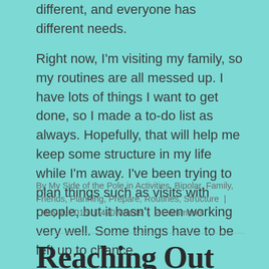different, and everyone has different needs.
Right now, I'm visiting my family, so my routines are all messed up. I have lots of things I want to get done, so I made a to-do list as always. Hopefully, that will help me keep some structure in my life while I'm away. I've been trying to plan things such as visits with people, but it hasn't been working very well. Some things have to be left up to chance.
By My Side of the Pole in Activities, Bipolar, Family, Friends, Planning, Prepare, Routines, Structure | May 4, 2016 | 420 Words | 2 Comments
Reaching Out To Our